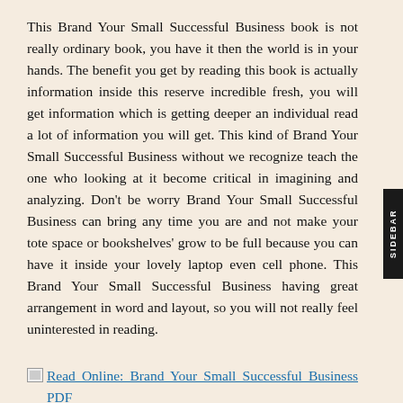This Brand Your Small Successful Business book is not really ordinary book, you have it then the world is in your hands. The benefit you get by reading this book is actually information inside this reserve incredible fresh, you will get information which is getting deeper an individual read a lot of information you will get. This kind of Brand Your Small Successful Business without we recognize teach the one who looking at it become critical in imagining and analyzing. Don't be worry Brand Your Small Successful Business can bring any time you are and not make your tote space or bookshelves' grow to be full because you can have it inside your lovely laptop even cell phone. This Brand Your Small Successful Business having great arrangement in word and layout, so you will not really feel uninterested in reading.
Read Online: Brand Your Small Successful Business PDF